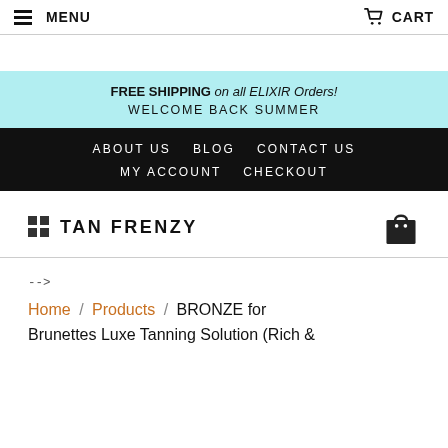MENU   CART
FREE SHIPPING on all ELIXIR Orders! WELCOME BACK SUMMER
ABOUT US   BLOG   CONTACT US   MY ACCOUNT   CHECKOUT
[Figure (logo): TAN FRENZY logo with grid icon and shopping bag icon]
-->
Home / Products / BRONZE for Brunettes Luxe Tanning Solution (Rich &